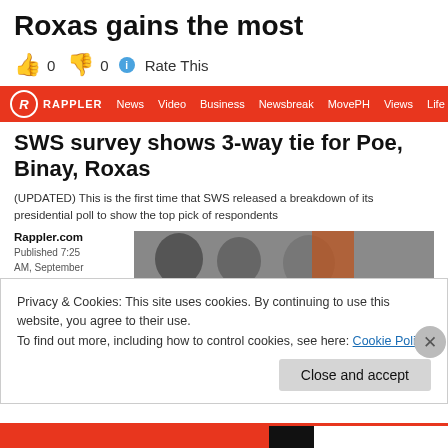Roxas gains the most
👍 0 👎 0 ℹ Rate This
RAPPLER | News | Video | Business | Newsbreak | MovePH | Views | Life & Style | Entertainment | Sport
SWS survey shows 3-way tie for Poe, Binay, Roxas
(UPDATED) This is the first time that SWS released a breakdown of its presidential poll to show the top pick of respondents
Rappler.com
Published 7:25 AM, September 23, 2015
Updated 12:24 PM, September
[Figure (photo): Three people photographed close together, black and white tones, Rappler.com watermark visible]
Privacy & Cookies: This site uses cookies. By continuing to use this website, you agree to their use.
To find out more, including how to control cookies, see here: Cookie Policy
Close and accept